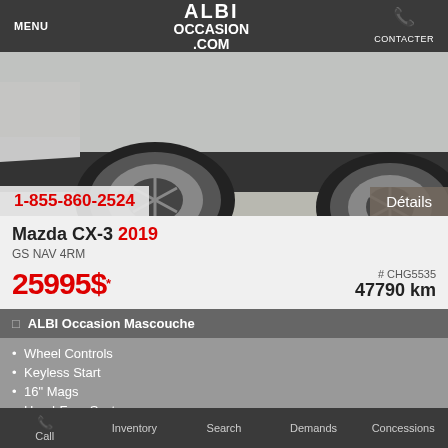MENU | ALBI OCCASION .COM | CONTACTER
[Figure (photo): Close-up photo of a silver Mazda CX-3 showing the front lower section, wheel, and side skirt in a garage setting.]
1-855-860-2524
Détails
Mazda CX-3 2019
GS NAV 4RM
25995$*
# CHG5535
47790 km
ALBI Occasion Mascouche
Wheel Controls
Keyless Start
16" Mags
Hand-Free System
Heated Seats and Wheel
Call | Inventory | Search | Demands | Concessions